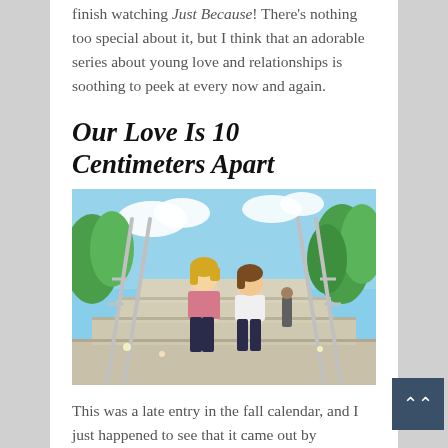finish watching Just Because! There's nothing too special about it, but I think that an adorable series about young love and relationships is soothing to peek at every now and again.
Our Love Is 10 Centimeters Apart
[Figure (illustration): Anime screenshot showing two high school students sitting on outdoor stone stairs with railings, surrounded by green trees and blue sky.]
This was a late entry in the fall calendar, and I just happened to see that it came out by coincidence. Lucky me, because this is a cute tale of high school romance. The